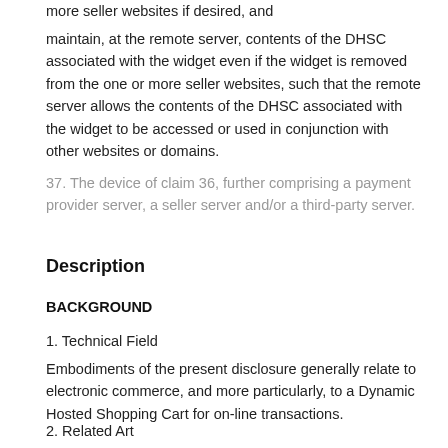more seller websites if desired, and
maintain, at the remote server, contents of the DHSC associated with the widget even if the widget is removed from the one or more seller websites, such that the remote server allows the contents of the DHSC associated with the widget to be accessed or used in conjunction with other websites or domains.
37. The device of claim 36, further comprising a payment provider server, a seller server and/or a third-party server.
Description
BACKGROUND
1. Technical Field
Embodiments of the present disclosure generally relate to electronic commerce, and more particularly, to a Dynamic Hosted Shopping Cart for on-line transactions.
2. Related Art
In on-line financial transactions, buyers search for and